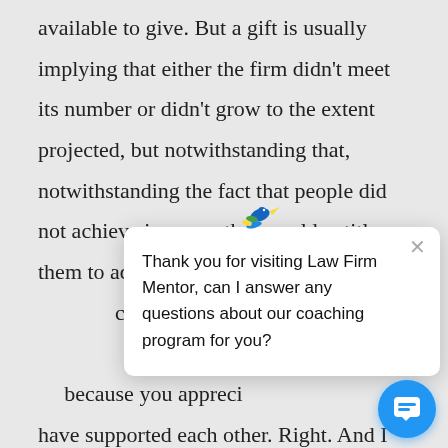available to give. But a gift is usually implying that either the firm didn't meet its number or didn't grow to the extent projected, but notwithstanding that, notwithstanding the fact that people did not achieve in a way that would entitle them to additional compensation, they [gave] compensation, they [stayed at the] firm. Right. So it could be because you appreci[ated the way they] have supported each other. Right. And I know a lot of people that are choosing to give a holiday gift this year rather than giving a bonus or rather
[Figure (screenshot): Chat popup from Law Firm Mentor with bird logo and message: 'Thank you for visiting Law Firm Mentor, can I answer any questions about our coaching program for you?' with close button and blue chat button.]